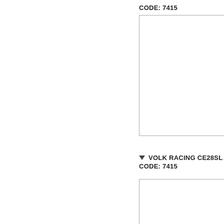CODE: 7415
[Figure (other): Empty bordered rectangle placeholder for product image]
▽ VOLK RACING CE28SL CODE: 7415
[Figure (other): Empty bordered rectangle placeholder for product image]